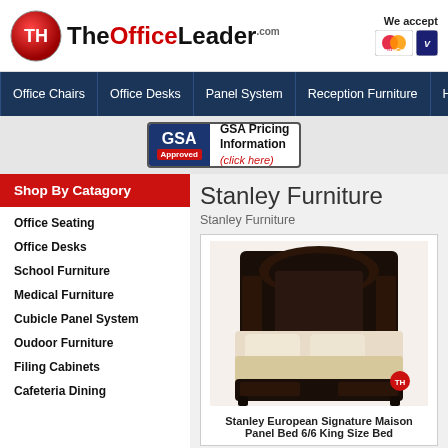[Figure (logo): TheOfficeLeader.com logo with red circle TH icon and bold text]
We accept
[Figure (logo): MasterCard and Visa credit card icons]
Office Chairs | Office Desks | Panel System | Reception Furniture | Hea...
[Figure (logo): GSA Approved badge - GSA Pricing Information (click here)]
Shop By Catagory
Office Seating
Office Desks
School Furniture
Medical Furniture
Cubicle Panel System
Oudoor Furniture
Filing Cabinets
Cafeteria Dining
Stanley Furniture
Stanley Furniture
[Figure (photo): Stanley European Signature Maison Panel Bed 6/6 King Size Bed - dark wood ornate headboard with cream bedding]
Stanley European Signature Maison Panel Bed 6/6 King Size Bed